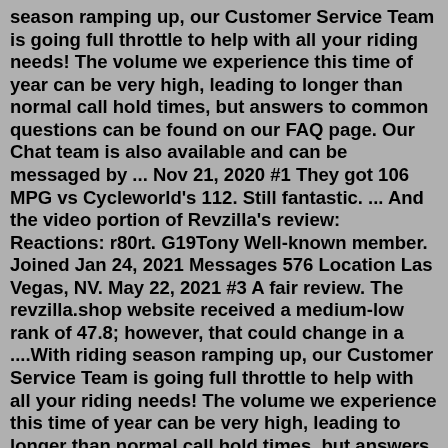season ramping up, our Customer Service Team is going full throttle to help with all your riding needs! The volume we experience this time of year can be very high, leading to longer than normal call hold times, but answers to common questions can be found on our FAQ page. Our Chat team is also available and can be messaged by ... Nov 21, 2020 #1 They got 106 MPG vs Cycleworld's 112. Still fantastic. ... And the video portion of Revzilla's review: Reactions: r80rt. G19Tony Well-known member. Joined Jan 24, 2021 Messages 576 Location Las Vegas, NV. May 22, 2021 #3 A fair review. The revzilla.shop website received a medium-low rank of 47.8; however, that could change in a ....With riding season ramping up, our Customer Service Team is going full throttle to help with all your riding needs! The volume we experience this time of year can be very high, leading to longer than normal call hold times, but answers to common questions can be found on our FAQ page. Our Chat team is also available and can be messaged by ... Quit